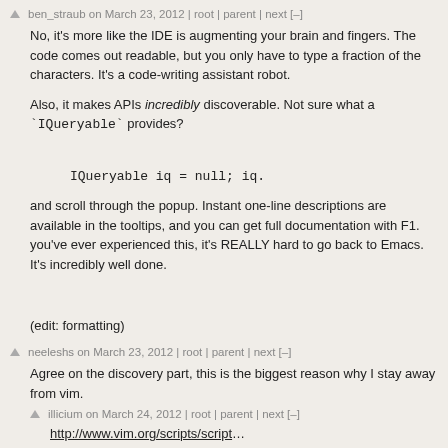ben_straub on March 23, 2012 | root | parent | next [–]
No, it's more like the IDE is augmenting your brain and fingers. The code comes out readable, but you only have to type a fraction of the characters. It's a code-writing assistant robot.
Also, it makes APIs incredibly discoverable. Not sure what a `IQueryable` provides?
and scroll through the popup. Instant one-line descriptions are available in the tooltips, and you can get full documentation with F1. you've ever experienced this, it's REALLY hard to go back to Emacs. It's incredibly well done.
(edit: formatting)
neeleshs on March 23, 2012 | root | parent | next [–]
Agree on the discovery part, this is the biggest reason why I stay away from vim.
illicium on March 24, 2012 | root | parent | next [–]
http://www.vim.org/scripts/script…
thenduks on March 23, 2012 | root | parent | prev | next [–]
That doesn't sound all that good to me. My steps to finding what IQueryable provides: